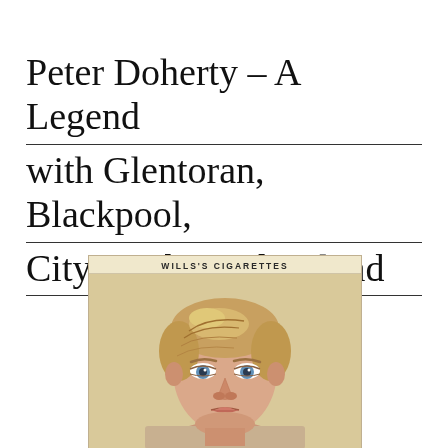Peter Doherty – A Legend with Glentoran, Blackpool, City, Derby and Ireland
[Figure (photo): A vintage Wills's Cigarettes card showing a portrait illustration of Peter Doherty, a young man with neatly combed blonde/light brown hair, blue eyes, wearing a plain top. The card has a cream/tan background with 'WILLS'S CIGARETTES' printed at the top.]